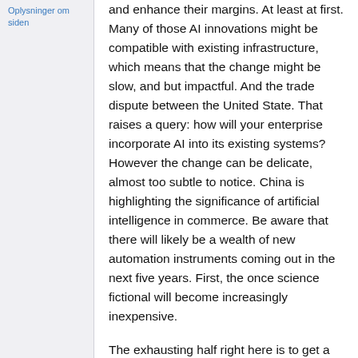Oplysninger om siden
and enhance their margins. At least at first. Many of those AI innovations might be compatible with existing infrastructure, which means that the change might be slow, and but impactful. And the trade dispute between the United State. That raises a query: how will your enterprise incorporate AI into its existing systems? However the change can be delicate, almost too subtle to notice. China is highlighting the significance of artificial intelligence in commerce. Be aware that there will likely be a wealth of new automation instruments coming out in the next five years. First, the once science fictional will become increasingly inexpensive.
The exhausting half right here is to get a holistic image of the present